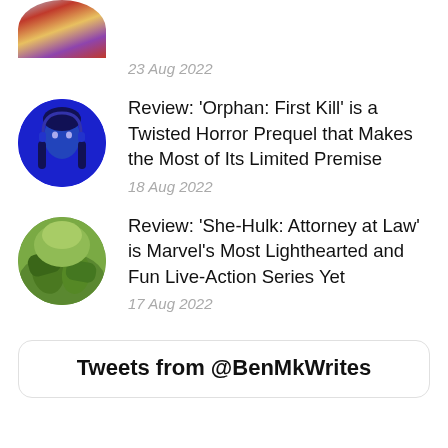[Figure (photo): Partially visible circular thumbnail image cropped at top, appears to be Elvis movie poster]
23 Aug 2022
[Figure (photo): Circular thumbnail with blue-tinted face, girl with dark hair and braids for Orphan: First Kill]
Review: ‘Orphan: First Kill’ is a Twisted Horror Prequel that Makes the Most of Its Limited Premise
18 Aug 2022
[Figure (photo): Circular thumbnail with green outdoor scene showing large hands (She-Hulk)]
Review: ‘She-Hulk: Attorney at Law’ is Marvel’s Most Lighthearted and Fun Live-Action Series Yet
17 Aug 2022
Tweets from @BenMkWrites